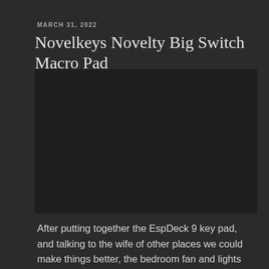MARCH 31, 2022
Novelkeys Novelty Big Switch Macro Pad
[Figure (photo): Photo of the Novelkeys Novelty Big Switch Macro Pad device]
After putting together the EspDeck 9 key pad, and talking to the wife of other places we could make things better, the bedroom fan and lights came up. I mentioned that we could use smart switches for them and make a